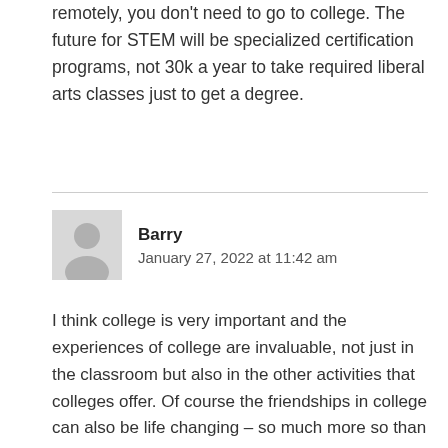remotely, you don't need to go to college. The future for STEM will be specialized certification programs, not 30k a year to take required liberal arts classes just to get a degree.
[Figure (illustration): Generic user avatar icon — grey silhouette of a person on a light grey background]
Barry
January 27, 2022 at 11:42 am
I think college is very important and the experiences of college are invaluable, not just in the classroom but also in the other activities that colleges offer. Of course the friendships in college can also be life changing – so much more so than high school.
But I don't think college is the end all be all that it is portrayed in some areas. It is not for everyone and it shouldn't be portrayed as an answer for everyone.